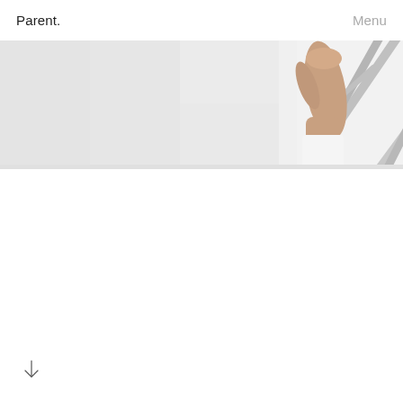Parent.
Menu
[Figure (photo): A hand gripping the top rung of a light gray aluminum step ladder or easel-like structure, photographed against a white background. The hand is shown from the wrist down, grasping a curved metal handle. The A-frame metal structure extends diagonally across the upper-right portion of the image.]
[Figure (other): A downward-pointing arrow icon at the bottom-left of the page.]